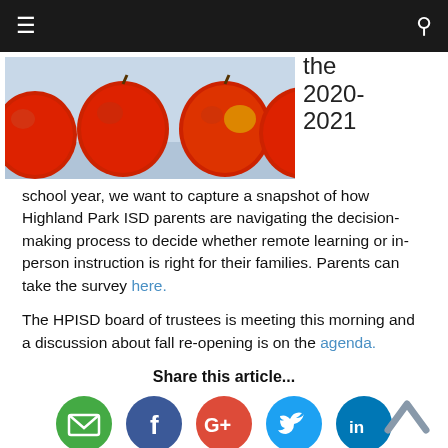Navigation bar with menu and search icons
[Figure (photo): Row of red apples on a light blue background]
the 2020-2021 school year, we want to capture a snapshot of how Highland Park ISD parents are navigating the decision-making process to decide whether remote learning or in-person instruction is right for their families. Parents can take the survey here.
The HPISD board of trustees is meeting this morning and a discussion about fall re-opening is on the agenda.
Share this article...
[Figure (infographic): Social share icons: email (green), Facebook (dark blue), Google+ (red), Twitter (light blue), LinkedIn (blue)]